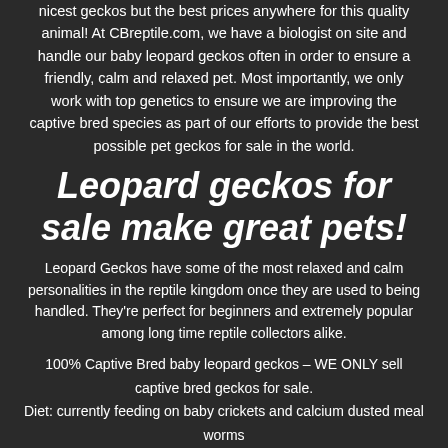nicest geckos but the best prices anywhere for this quality animal! At CBreptile.com, we have a biologist on site and handle our baby leopard geckos often in order to ensure a friendly, calm and relaxed pet. Most importantly, we only work with top genetics to ensure we are improving the captive bred species as part of our efforts to provide the best possible pet geckos for sale in the world.
Leopard geckos for sale make great pets!
Leopard Geckos have some of the most relaxed and calm personalities in the reptile kingdom once they are used to being handled. They're perfect for beginners and extremely popular among long time reptile collectors alike.
100% Captive Bred baby leopard geckos – WE ONLY sell captive bred geckos for sale.
Diet: currently feeding on baby crickets and calcium dusted meal worms
Mature size 6-7" @ 18 Months old.
Easy to care for, makes great reptile pet for kids and adults.
Hardy & lives up to 20 years in captivity.